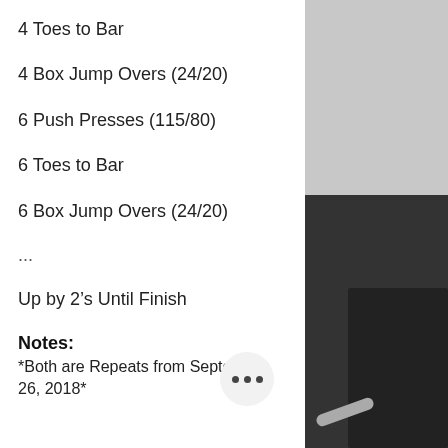4 Toes to Bar
4 Box Jump Overs (24/20)
6 Push Presses (115/80)
6 Toes to Bar
6 Box Jump Overs (24/20)
...
Up by 2’s Until Finish
Notes:
*Both are Repeats from September 26, 2018*
[Figure (photo): Black and white photo of a gym with barbells and weight plates on the floor]